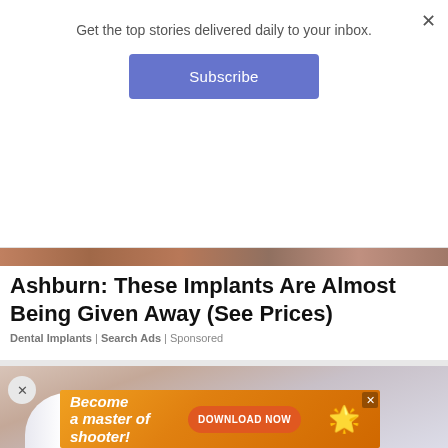Get the top stories delivered daily to your inbox.
[Figure (screenshot): Blue Subscribe button]
[Figure (photo): Partial photo strip at top of article — blurred warm-toned image]
Ashburn: These Implants Are Almost Being Given Away (See Prices)
Dental Implants | Search Ads | Sponsored
[Figure (photo): Close-up photo of a white cylindrical dental implant object against warm brown background]
[Figure (screenshot): Mobile game advertisement banner: 'Become a master of shooter!' with DOWNLOAD NOW button and pink star character on orange background]